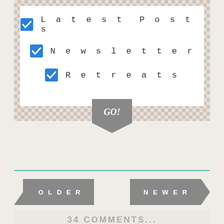☑ Latest Posts
☑ Newsletter
☑ Retreats
[Figure (illustration): GO! ribbon/badge button in gray]
[Figure (illustration): Teal horizontal divider line]
[Figure (illustration): OLDER arrow button (left, gray)]
[Figure (illustration): NEWER arrow button (right, gray)]
34 COMMENTS...
Amanda
September 7 2016
I had Doug as my guide with